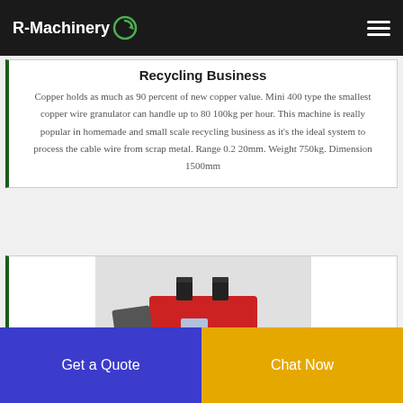R-Machinery
Recycling Business
Copper holds as much as 90 percent of new copper value. Mini 400 type the smallest copper wire granulator can handle up to 80 100kg per hour. This machine is really popular in homemade and small scale recycling business as it's the ideal system to process the cable wire from scrap metal. Range 0.2 20mm. Weight 750kg. Dimension 1500mm
[Figure (photo): Red copper wire granulator machine photographed from front-left angle on grey background]
Get a Quote
Chat Now